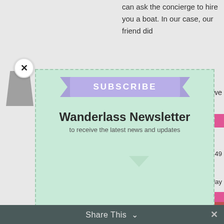can ask the concierge to hire you a boat. In our case, our friend did
[Figure (screenshot): Newsletter subscription modal popup with ribbon banner reading SUBSCRIBE, title Wanderlass Newsletter, subtitle to receive the latest news and updates, email input field, and pink SUBSCRIBE! button on a mint green background with dashed border]
ENTER YOUR EMAIL
SUBSCRIBE!
Share This